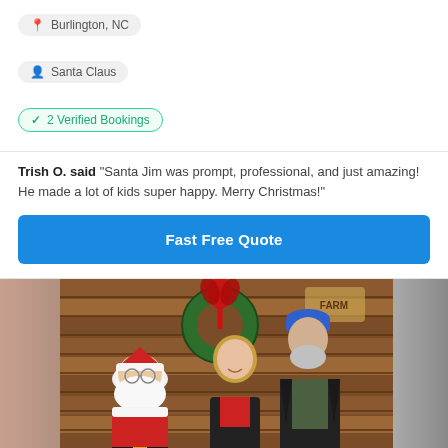Burlington, NC
Santa Claus
2 Verified Bookings
Trish O. said "Santa Jim was prompt, professional, and just amazing! He made a lot of kids super happy. Merry Christmas!"
Fast Free Quote
[Figure (photo): Photo of Santa Claus seated with a woman and a man standing behind him in front of a wooden wall with a Christmas wreath with red ribbon]